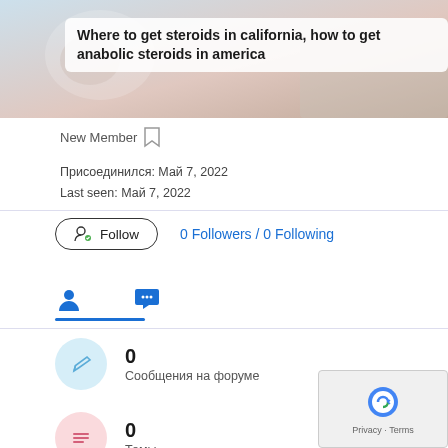[Figure (screenshot): Header banner with blurred background image (coffee cup scene), containing a white rounded box with bold article title text.]
Where to get steroids in california, how to get anabolic steroids in america
New Member
Присоединился: Май 7, 2022
Last seen: Май 7, 2022
Follow   0 Followers / 0 Following
0
Сообщения на форуме
0
Темы
0
Вопросы